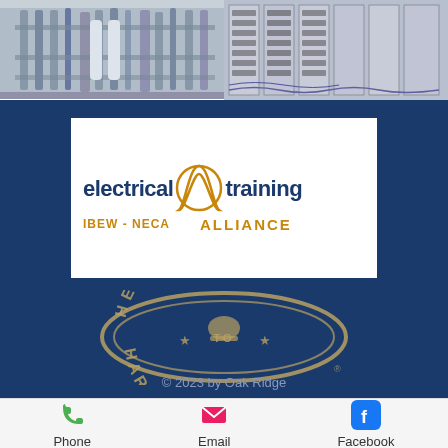[Figure (photo): Two industrial electrical installation photos side by side: left shows conduit and cable trays in an industrial facility, right shows electrical panels and wiring]
[Figure (logo): electrical training ALLIANCE IBEW-NECA logo on white background with gold wave graphic]
[Figure (logo): Helmets to Hardhats circular badge logo in gold/tan on navy blue background]
© 2023 by Oak Ridge
[Figure (infographic): Footer bar with Phone (green phone icon), Email (red envelope icon), Facebook (blue Facebook icon) contact options]